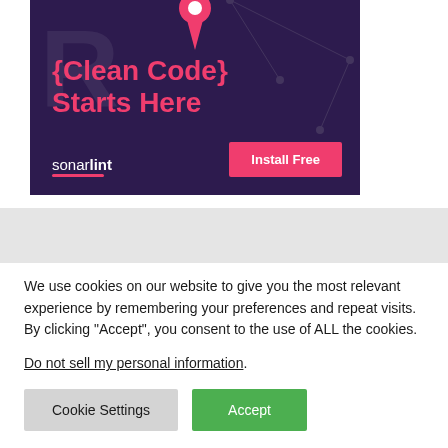[Figure (illustration): SonarLint advertisement banner with dark purple background, pink location pin icon, large text '{Clean Code} Starts Here' in pink, sonarLint logo in white, and an 'Install Free' button in pink/salmon color.]
We use cookies on our website to give you the most relevant experience by remembering your preferences and repeat visits. By clicking "Accept", you consent to the use of ALL the cookies.
Do not sell my personal information.
Cookie Settings
Accept